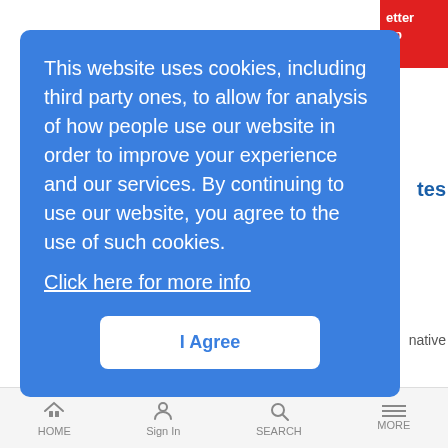[Figure (screenshot): Red button partially visible top right with white text 'etter' and 'up']
This website uses cookies, including third party ones, to allow for analysis of how people use our website in order to improve your experience and our services. By continuing to use our website, you agree to the use of such cookies.
Click here for more info
I Agree
NewsAnalysis | 12/10/2018
Also in today's EMEA regional roundup: Nokia and friends deploy liquid-based basestation cooling in Helsinki; Liquid Telecom invests in Egypt; Deutsche Telekom launches 5G in Warsaw.
[Figure (photo): Video thumbnail showing a person with glasses, with a red play button overlay]
PCCW Global on the Need to Monetize the Edge
HOME   Sign In   SEARCH   MORE